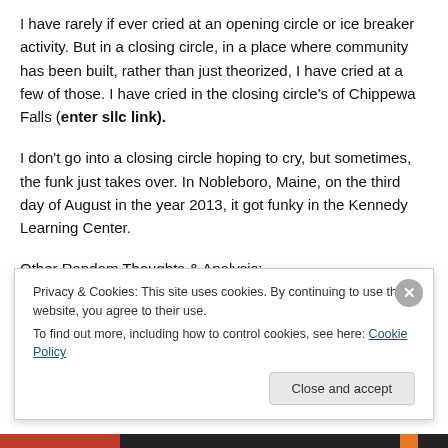I have rarely if ever cried at an opening circle or ice breaker activity. But in a closing circle, in a place where community has been built, rather than just theorized, I have cried at a few of those. I have cried in the closing circle's of Chippewa Falls (enter sllc link).
I don't go into a closing circle hoping to cry, but sometimes, the funk just takes over. In Nobleboro, Maine, on the third day of August in the year 2013, it got funky in the Kennedy Learning Center.
Other Random Thoughts & Analysis:
Privacy & Cookies: This site uses cookies. By continuing to use this website, you agree to their use. To find out more, including how to control cookies, see here: Cookie Policy